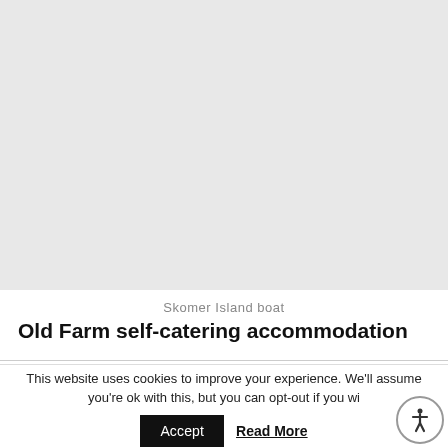[Figure (photo): Skomer Island boat — large image placeholder area at top of page]
Skomer Island boat
Old Farm self-catering accommodation
This website uses cookies to improve your experience. We'll assume you're ok with this, but you can opt-out if you wi...
Accept   Read More